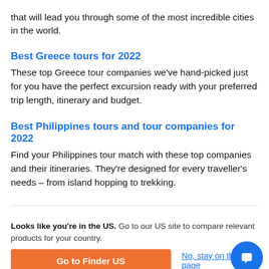that will lead you through some of the most incredible cities in the world.
Best Greece tours for 2022
These top Greece tour companies we've hand-picked just for you have the perfect excursion ready with your preferred trip length, itinerary and budget.
Best Philippines tours and tour companies for 2022
Find your Philippines tour match with these top companies and their itineraries. They're designed for every traveller's needs – from island hopping to trekking.
Looks like you're in the US. Go to our US site to compare relevant products for your country.